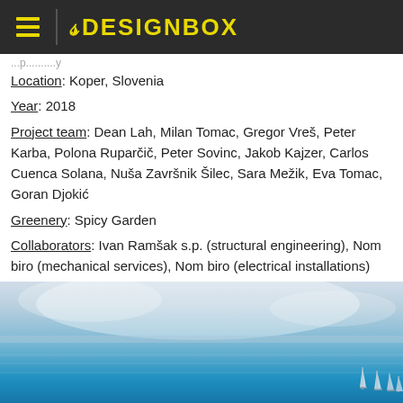8 DESIGNBOX
Location: Koper, Slovenia
Year: 2018
Project team: Dean Lah, Milan Tomac, Gregor Vreš, Peter Karba, Polona Ruparčič, Peter Sovinc, Jakob Kajzer, Carlos Cuenca Solana, Nuša Završnik Šilec, Sara Mežik, Eva Tomac, Goran Djokić
Greenery: Spicy Garden
Collaborators: Ivan Ramšak s.p. (structural engineering), Nom biro (mechanical services), Nom biro (electrical installations)
Photography: Miran Kambič
[Figure (photo): Aerial or wide-angle photo of a calm blue sea/bay with sailboats visible in the lower right, under a hazy cloudy sky]